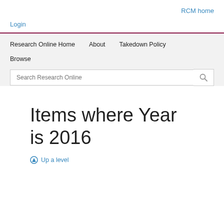RCM home
Login
Research Online Home   About   Takedown Policy
Browse
Search Research Online
Items where Year is 2016
Up a level